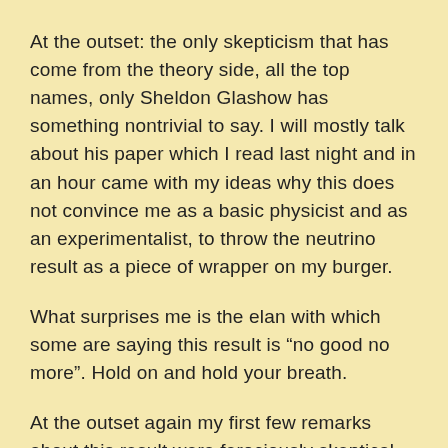At the outset: the only skepticism that has come from the theory side, all the top names, only Sheldon Glashow has something nontrivial to say. I will mostly talk about his paper which I read last night and in an hour came with my ideas why this does not convince me as a basic physicist and as an experimentalist, to throw the neutrino result as a piece of wrapper on my burger.
What surprises me is the elan with which some are saying this result is “no good no more”. Hold on and hold your breath.
At the outset again my first few remarks about this result were ferociously skeptical, even the night, before the results were publicized and I knew of it,